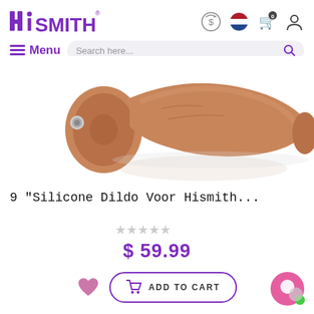HISMITH® Menu | Search here...
[Figure (photo): Close-up photo of a brown silicone dildo product with a metal connector stud at the base, photographed on white background]
9 "Silicone Dildo Voor Hismith...
★★★★★ (0 reviews)
$ 59.99
ADD TO CART